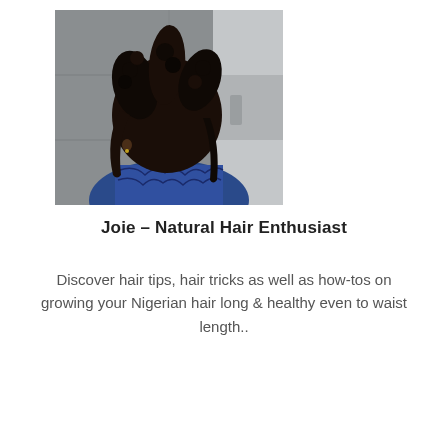[Figure (photo): A person seen from behind showing natural hair styled in large twisted/coiled sections, wearing a blue patterned garment, against a grey wall background.]
Joie  – Natural Hair Enthusiast
Discover hair tips, hair tricks as well as how-tos on growing your Nigerian hair long & healthy even to waist length..